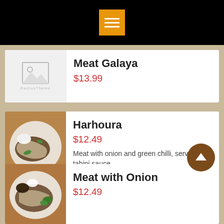[Figure (screenshot): Black top navigation bar with orange hamburger menu icon (three horizontal white lines on orange square background)]
Meat Galaya
$13.99
[Figure (photo): Photo of Harhoura dish: meat with onion and green chilli on a white plate with small bowl of white sauce, on wooden surface]
Harhoura
$12.49
Meat with onion and green chilli, served with tahini sauce
[Figure (photo): Photo of Meat with Onion dish on white plate with dark sauce and green garnish]
Meat with Onion
$12.49